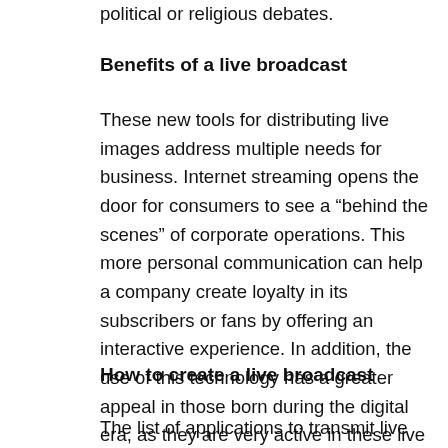political or religious debates.
Benefits of a live broadcast
These new tools for distributing live images address multiple needs for business. Internet streaming opens the door for consumers to see a “behind the scenes” of corporate operations. This more personal communication can help a company create loyalty in its subscribers or fans by offering an interactive experience. In addition, the use of this technology has a greater appeal in those born during the digital era, as they are very active in these live transmission channels. Transmissions are a good way for brands to achieve greater visibility and position themselves as “innovative”.
How to create a live broadcast
The list of applications to transmit live every time is longer. The most popular platforms include Periscope